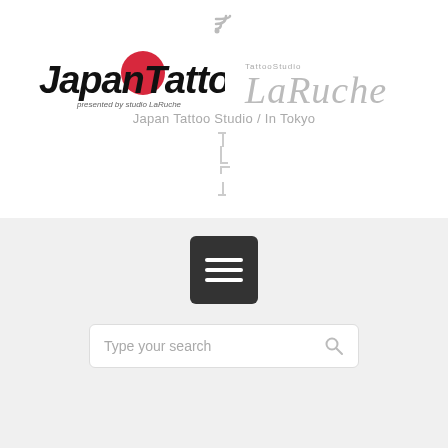[Figure (logo): RSS feed icon at top center]
[Figure (logo): Japan Tattoo logo (presented by studio LaRuche) and TattooStudio LaRuche script logo side by side]
Japan Tattoo Studio / In Tokyo
[Figure (other): Bracket/loading spinner icon]
[Figure (other): Hamburger menu button (dark square with three white lines)]
[Figure (other): Search box with placeholder text 'Type your search' and search icon]
Home / Tag: foreigner friendly tattoo shop in Tokyo